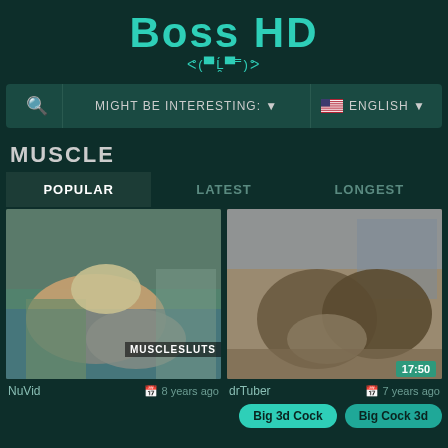Boss HD
ᕙ(▀̿Ĺ̯▀̿ ̿)ᕗ
MIGHT BE INTERESTING: ▼   🇺🇸 ENGLISH ▼
MUSCLE
POPULAR   LATEST   LONGEST
[Figure (screenshot): Video thumbnail showing two people wrestling/grappling on a blue mat outdoors, with watermark text MUSCLESLUTS]
[Figure (screenshot): Video thumbnail showing 3D animated muscular figures in a sexual scene]
NuVid   8 years ago
drTuber   7 years ago
Big 3d Cock   Big Cock 3d